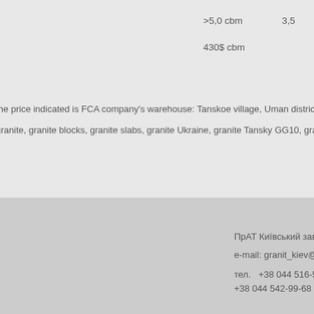>5,0 cbm                    3,5
430$ cbm
the price indicated is FCA company's warehouse: Tanskoe village, Uman district, Cherk
granite, granite blocks, granite slabs, granite Ukraine, granite Tansky GG10, granit,
ПрАТ Київський завод Гран
e-mail: granit_kiev@i.ua
тел.  +38 044 516-57-33  моб
+38 044 542-99-68